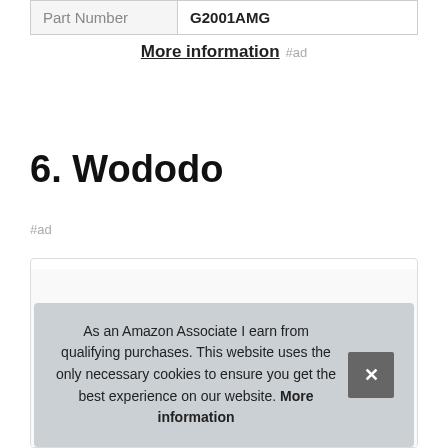| Part Number | G2001AMG |
| --- | --- |
More information #ad
6. Wododo
#ad
[Figure (photo): Product image partially visible in a card with border]
As an Amazon Associate I earn from qualifying purchases. This website uses the only necessary cookies to ensure you get the best experience on our website. More information